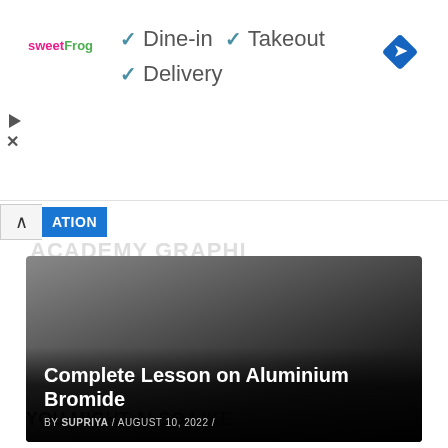[Figure (screenshot): Advertisement banner for sweetFrog restaurant showing checkmarks next to Dine-in, Takeout, and Delivery options, with a blue navigation icon in the top right corner]
[Figure (screenshot): Partially visible collapsed UI panel with an up-caret button and a blue LOCATION tab label]
[Figure (screenshot): Article card with dark gradient background showing title 'Complete Lesson on Aluminium Bromide' by SUPRIYA dated AUGUST 10, 2022]
YOU MIGHT ALSO LIKE